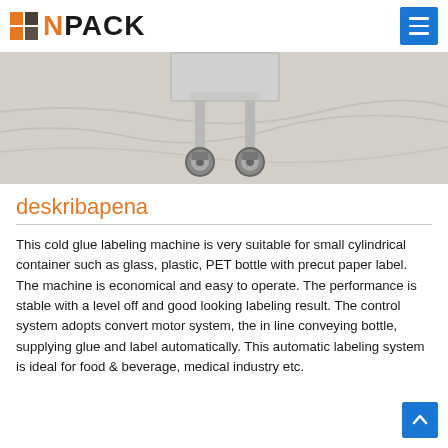N PACK
[Figure (photo): Bottom of a stainless steel labeling machine on wheels/casters, placed on a white cloth background]
deskribapena
This cold glue labeling machine is very suitable for small cylindrical container such as glass, plastic, PET bottle with precut paper label. The machine is economical and easy to operate. The performance is stable with a level off and good looking labeling result. The control system adopts convert motor system, the in line conveying bottle, supplying glue and label automatically. This automatic labeling system is ideal for food & beverage, medical industry etc.